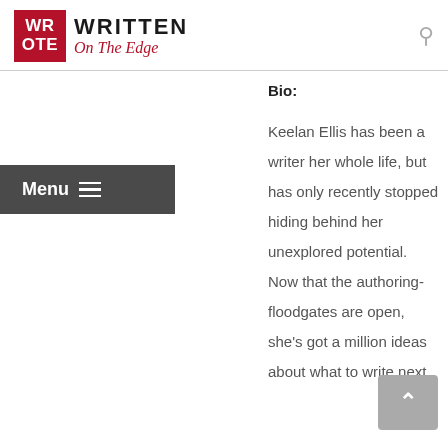WRITTEN On The Edge
Bio:
Keelan Ellis has been a writer her whole life, but has only recently stopped hiding behind her unexplored potential. Now that the authoring-floodgates are open, she's got a million ideas about what to write next.